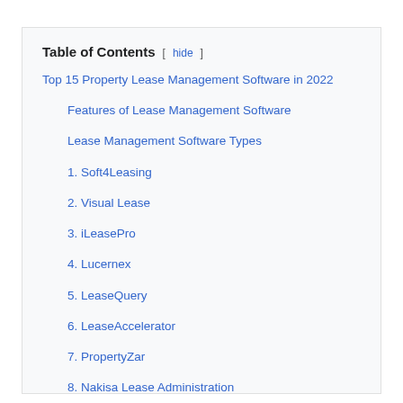Table of Contents [ hide ]
Top 15 Property Lease Management Software in 2022
Features of Lease Management Software
Lease Management Software Types
1. Soft4Leasing
2. Visual Lease
3. iLeasePro
4. Lucernex
5. LeaseQuery
6. LeaseAccelerator
7. PropertyZar
8. Nakisa Lease Administration
9. 360 Property Manager
10. MRI ProLease
11. AMTdirect